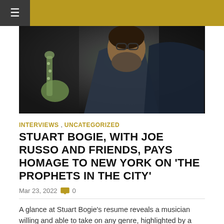≡
[Figure (photo): A bearded man wearing glasses playing a saxophone, photographed in profile against a dark background.]
INTERVIEWS , UNCATEGORIZED
STUART BOGIE, WITH JOE RUSSO AND FRIENDS, PAYS HOMAGE TO NEW YORK ON 'THE PROPHETS IN THE CITY'
Mar 23, 2022  0
A glance at Stuart Bogie's resume reveals a musician willing and able to take on any genre, highlighted by a broad range of recordings with everyone from Taylor Swift to Arcade Fire to Run The Jewels …